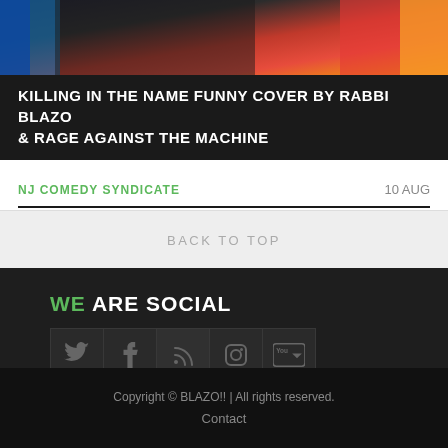[Figure (photo): Partial photo of a person playing guitar with colorful background]
KILLING IN THE NAME FUNNY COVER BY RABBI BLAZO & RAGE AGAINST THE MACHINE
NJ COMEDY SYNDICATE
10 AUG
BACK TO TOP
WE ARE SOCIAL
[Figure (other): Social media icons: Twitter, Facebook, RSS, Instagram, YouTube]
Copyright © BLAZO!! | All rights reserved.
Contact